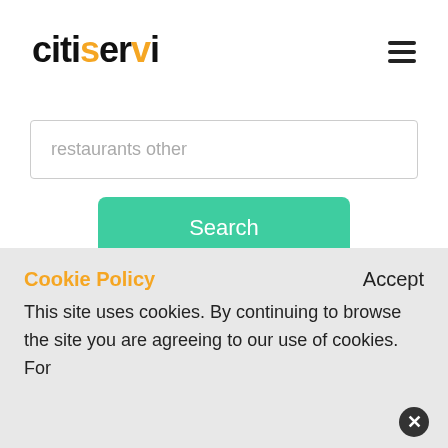citiservi
[Figure (other): Search input field with placeholder text 'restaurants other']
[Figure (other): Green Search button]
We have found 4668 businesses of
Cookie Policy
Accept
This site uses cookies. By continuing to browse the site you are agreeing to our use of cookies. For more details, see our Cookie Policy